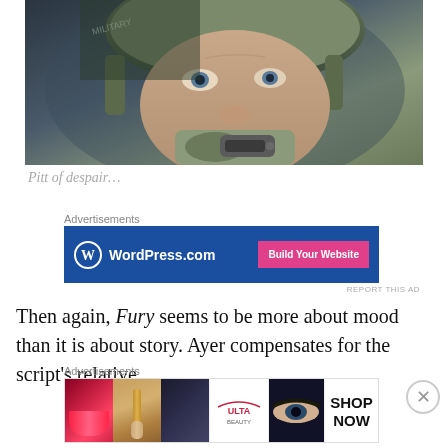[Figure (photo): Close-up photo of a soldier (Brad Pitt) wearing a military helmet and gloves, holding a radio or communication device to his mouth, from the movie Fury]
Pitt of despair…
Advertisements
[Figure (screenshot): WordPress.com advertisement banner with blue background, WordPress logo on the left, and a pink 'Build Your Website' button on the right]
Then again, Fury seems to be more about mood than it is about story. Ayer compensates for the script's relative
Advertisements
[Figure (screenshot): Ulta Beauty advertisement banner showing makeup images including lips, a brush, eyes, the Ulta logo, more eye images, and 'SHOP NOW' text]